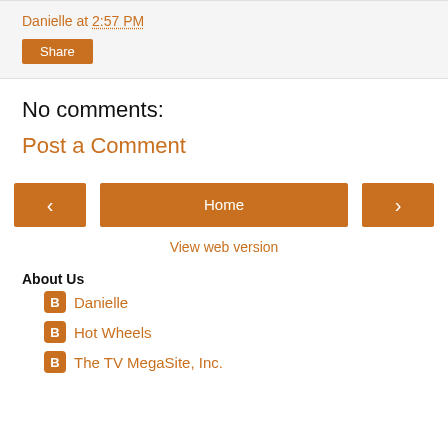Danielle at 2:57 PM
Share
No comments:
Post a Comment
‹
Home
›
View web version
About Us
Danielle
Hot Wheels
The TV MegaSite, Inc.